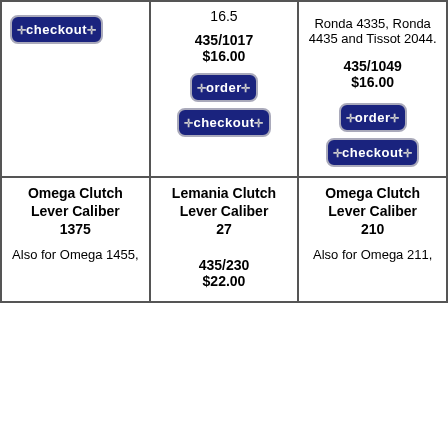| Col1 | Col2 | Col3 |
| --- | --- | --- |
| [checkout button] | 16.5
435/1017
$16.00
[order button]
[checkout button] | Ronda 4335, Ronda 4435 and Tissot 2044.
435/1049
$16.00
[order button]
[checkout button] |
| Omega Clutch Lever Caliber 1375
Also for Omega 1455, | Lemania Clutch Lever Caliber 27
435/230
$22.00 | Omega Clutch Lever Caliber 210
Also for Omega 211, |